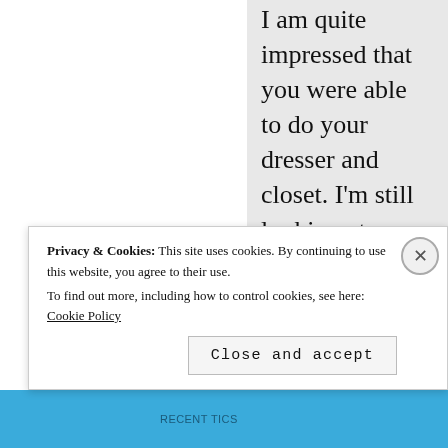I am quite impressed that you were able to do your dresser and closet. I'm still looking at my room. I did some rearranging because I had to put up the new shelf but that was a while ago and you know how things go.

And I waved my magic wand in your direction to help you figure out what caused what. It's so strange to think of
Privacy & Cookies: This site uses cookies. By continuing to use this website, you agree to their use.
To find out more, including how to control cookies, see here: Cookie Policy
Close and accept